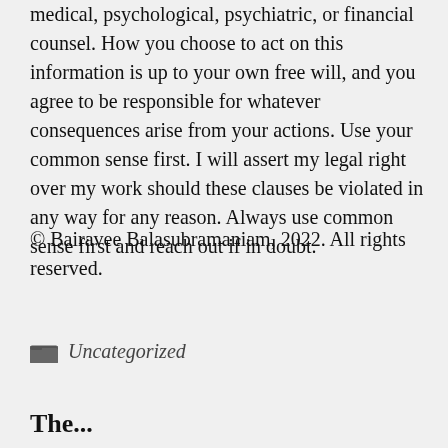medical, psychological, psychiatric, or financial counsel. How you choose to act on this information is up to your own free will, and you agree to be responsible for whatever consequences arise from your actions. Use your common sense first. I will assert my legal right over my work should these clauses be violated in any way for any reason. Always use common sense first and reach out if in doubt.
© Bairavee Balasubramaniam, 2022. All rights reserved.
Uncategorized
The...